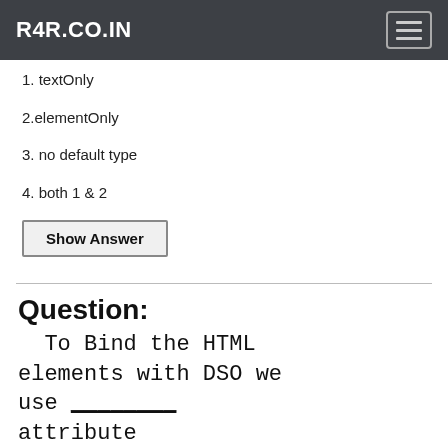R4R.CO.IN
1. textOnly
2.elementOnly
3. no default type
4. both 1 & 2
Show Answer
Question:
To Bind the HTML elements with DSO we use ________ attribute